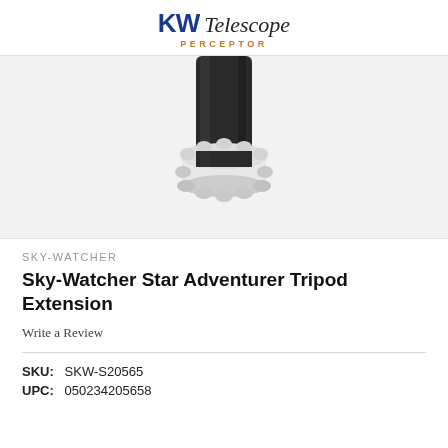KW Telescope PERCEPTOR
[Figure (photo): Close-up photo of a Sky-Watcher Star Adventurer Tripod Extension piece — a black cylindrical tube attached to a white gear-shaped locking collar/knob, on a light gray background.]
SKY-WATCHER
Sky-Watcher Star Adventurer Tripod Extension
Write a Review
SKU:  SKW-S20565
UPC:  050234205658